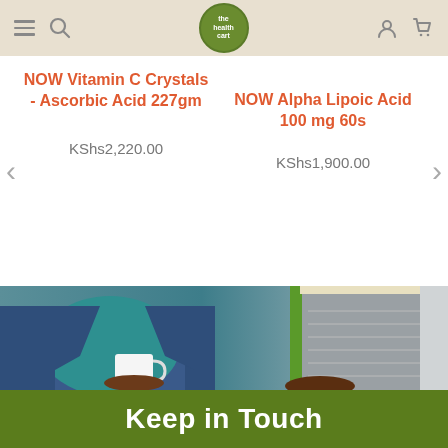the health cart — navigation header with menu, search, logo, user and cart icons
NOW Vitamin C Crystals - Ascorbic Acid 227gm
KShs2,220.00
NOW Alpha Lipoic Acid 100 mg 60s
KShs1,900.00
[Figure (photo): Person wearing a denim jacket and teal sweater, holding a white mug and reading a notebook with green cover]
Keep in Touch